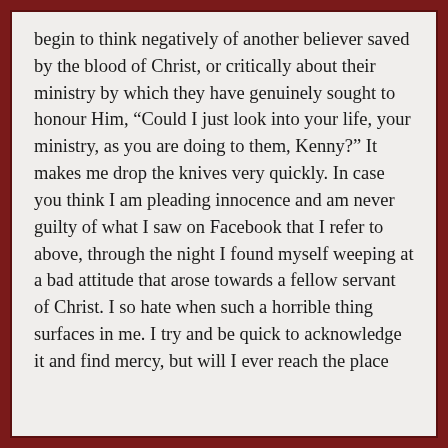begin to think negatively of another believer saved by the blood of Christ, or critically about their ministry by which they have genuinely sought to honour Him, “Could I just look into your life, your ministry, as you are doing to them, Kenny?” It makes me drop the knives very quickly. In case you think I am pleading innocence and am never guilty of what I saw on Facebook that I refer to above, through the night I found myself weeping at a bad attitude that arose towards a fellow servant of Christ. I so hate when such a horrible thing surfaces in me. I try and be quick to acknowledge it and find mercy, but will I ever reach the place of sanctification by the grace of God...